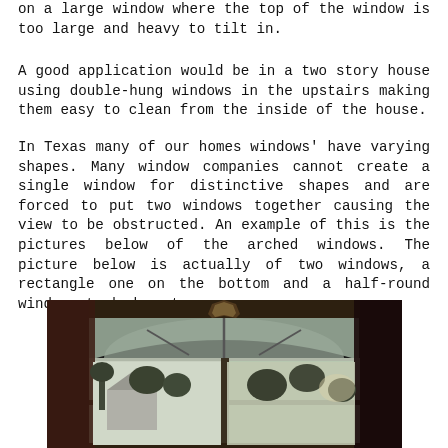on a large window where the top of the window is too large and heavy to tilt in.
A good application would be in a two story house using double-hung windows in the upstairs making them easy to clean from the inside of the house.
In Texas many of our homes windows' have varying shapes. Many window companies cannot create a single window for distinctive shapes and are forced to put two windows together causing the view to be obstructed. An example of this is the pictures below of the arched windows. The picture below is actually of two windows, a rectangle one on the bottom and a half-round window stacked on top.
[Figure (photo): Interior photograph showing an arched window from inside a home. The window appears to be composed of two parts: a rectangular window on the bottom and a half-round (arched) window on top. Through the window, trees and a house exterior are visible in a muted, slightly overexposed outdoor scene. The interior shows dark wood framing and curtains on the sides.]